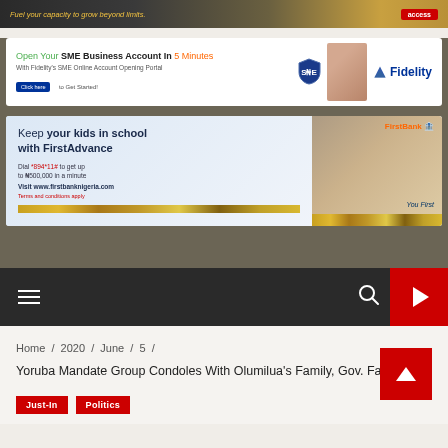[Figure (photo): Access Bank advertisement banner: 'Fuel your capacity to grow beyond limits.' with Access logo on dark background]
[Figure (photo): Fidelity Bank advertisement: 'Open Your SME Business Account In 5 Minutes. With Fidelity's SME Online Account Opening Portal. Click here to Get Started!' with Fidelity logo and woman image]
[Figure (photo): FirstBank advertisement: 'Keep your kids in school with FirstAdvance. Dial *894*11# to get up to N500,000 in a minute. Visit www.firstbanknigeria.com. Terms and conditions apply. You First.' with man's photo and FirstBank logo]
Navigation bar with hamburger menu, search icon, and red play button
Home / 2020 / June / 5 /
Yoruba Mandate Group Condoles With Olumilua's Family, Gov. Fayemi
Just-In
Politics